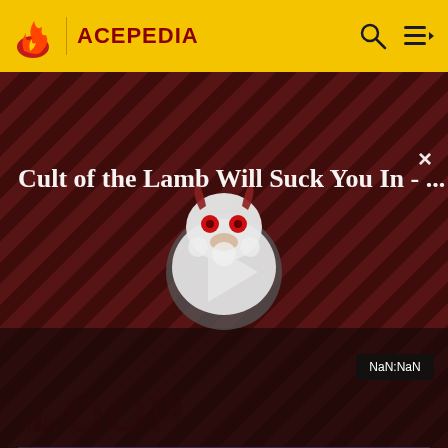ACEPEDIA
[Figure (screenshot): Video thumbnail for 'Cult of the Lamb Will Suck You In - ...' showing a cartoon lamb character with red eyes on a dark red diagonal-striped background with THE LOOP watermark, a large play button in the center, an X close button top right, and a NaN:NaN timestamp bottom right]
Top Contributors
Comments (6)
Categories